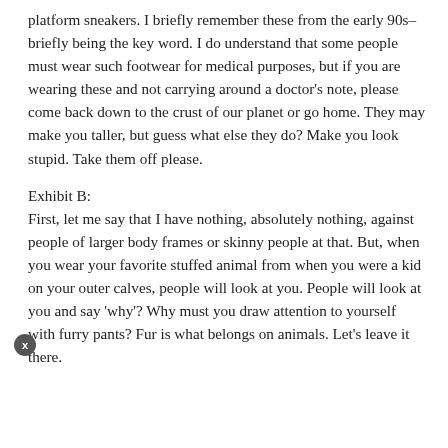platform sneakers. I briefly remember these from the early 90s–briefly being the key word. I do understand that some people must wear such footwear for medical purposes, but if you are wearing these and not carrying around a doctor's note, please come back down to the crust of our planet or go home. They may make you taller, but guess what else they do? Make you look stupid. Take them off please.
Exhibit B:
First, let me say that I have nothing, absolutely nothing, against people of larger body frames or skinny people at that. But, when you wear your favorite stuffed animal from when you were a kid on your outer calves, people will look at you. People will look at you and say 'why'? Why must you draw attention to yourself with furry pants? Fur is what belongs on animals. Let's leave it there.